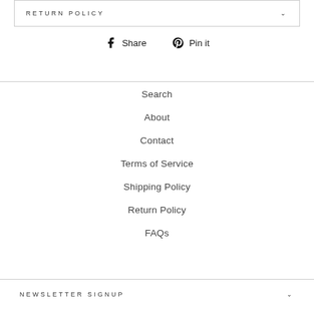RETURN POLICY
Share  Pin it
Search
About
Contact
Terms of Service
Shipping Policy
Return Policy
FAQs
NEWSLETTER SIGNUP